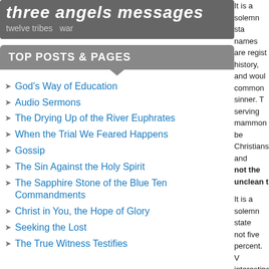[Figure (other): Tag cloud banner with text 'three angels messages', 'twelve tribes', 'war' on dark gray background]
TOP POSTS & PAGES
God's Way of Education
Audio Sermons
The Drying Up of the River Euphrates
When the Trial We Feared Happens
Gossip
The Sin Against the Holy Spirit
The Sapphire Stone of the Blue Ten Commandments
Christ in You, the Hope of Glory
Seeking the Lost
The True Witness Testifies
It is a solemn sta... names are regist... history, and woul... common sinner. T... serving mammon... be Christians and... not the unclean t...
It is a solemn state... not five percent. V... interesting in refere... faithful are called u... profession. The his...
Soon God's people... who now appear t... being strengthen... cowardly take the...
To stand in defer... fight the battles... 136.2}